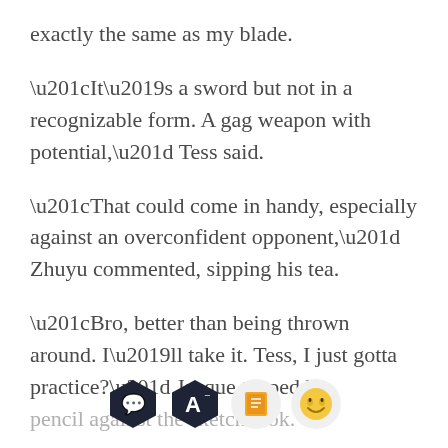exactly the same as my blade.
“It’s a sword but not in a recognizable form. A gag weapon with potential,” Tess said.
“That could come in handy, especially against an overconfident opponent,” Zhuyu commented, sipping his tea.
“Bro, better than being thrown around. I’ll take it. Tess, I just gotta practice?” Jacque tapped his pencil against the sketchbook.
[Figure (screenshot): Mobile reading app toolbar with four icons: a dark hexagonal chat/comment button, a dark hexagonal font/text button, an orange book icon, and an emoji face icon.]